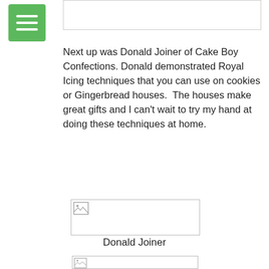[Figure (other): Top image placeholder with broken image icon]
Next up was Donald Joiner of Cake Boy Confections. Donald demonstrated Royal Icing techniques that you can use on cookies or Gingerbread houses.  The houses make great gifts and I can't wait to try my hand at doing these techniques at home.
[Figure (photo): Large image placeholder for Donald Joiner photo with broken image icon]
Donald Joiner
[Figure (photo): Bottom image placeholder with broken image icon]